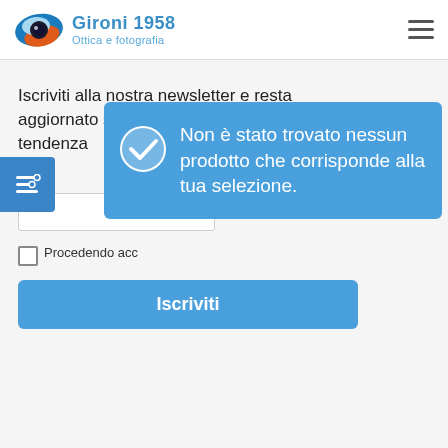[Figure (logo): Gironi 1958 Ottica e fotografia logo with eye graphic]
Iscriviti alla nostra newsletter e resta aggiornato sui nuovi prodotti di tendenza
Email
Procedendo acc
[Figure (infographic): Blue popup with checkmark: Non è stato trovato nessun prodotto che corrisponde alla tua selezione.]
Iscriviti
© Copyright 2020 GIRONI 1958. All rights reserved.